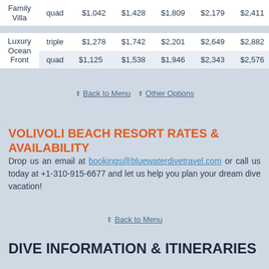| Room Type | Occupancy | 3 nights | 5 nights | 7 nights | 9 nights | 10 nights |
| --- | --- | --- | --- | --- | --- | --- |
| Family Villa | quad | $1,042 | $1,428 | $1,809 | $2,179 | $2,411 |
| Luxury Ocean Front | triple | $1,278 | $1,742 | $2,201 | $2,649 | $2,882 |
| Luxury Ocean Front | quad | $1,125 | $1,538 | $1,946 | $2,343 | $2,576 |
↑ Back to Menu ↑ Other Options
VOLIVOLI BEACH RESORT RATES & AVAILABILITY
Drop us an email at bookings@bluewaterdivetravel.com or call us today at +1-310-915-6677 and let us help you plan your dream dive vacation!
↑ Back to Menu
DIVE INFORMATION & ITINERARIES